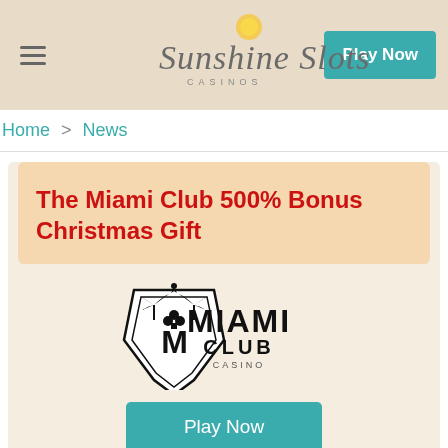Sunshine Slots Casinos — Play Now
Home > News
The Miami Club 500% Bonus Christmas Gift
[Figure (logo): Miami Club Casino logo — stylized M with palm trees and diamond crest, with MIAMI CLUB CASINO text]
Play Now
The outstanding US friendly online casino Miami Club has had a little word with Santa, and he's agreed to deliver a very cool present a little early to all Miami Club